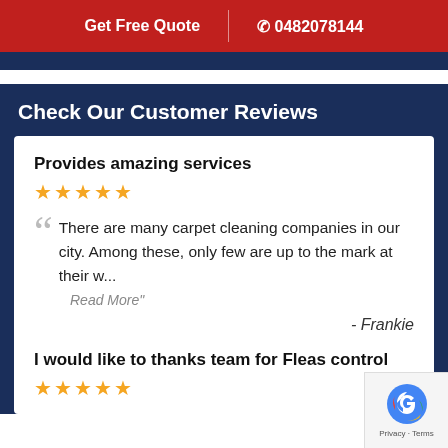Get Free Quote  |  ☎ 0482078144
Check Our Customer Reviews
Provides amazing services
★★★★★
There are many carpet cleaning companies in our city. Among these, only few are up to the mark at their w...
Read More"
- Frankie
I would like to thanks team for Fleas control
★★★★★